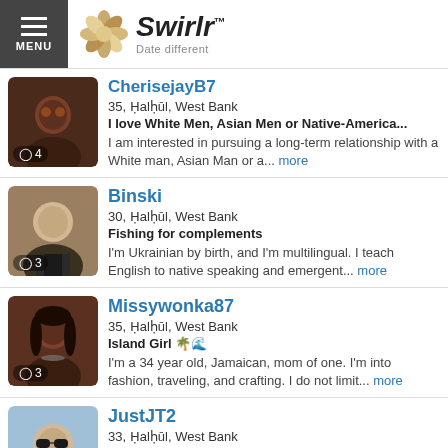MENU | Swirlr™ Date different
CherisejayB7
35, Ḥalḥūl, West Bank
I love White Men, Asian Men or Native-America...
I am interested in pursuing a long-term relationship with a White man, Asian Man or a... more
Binski
30, Ḥalḥūl, West Bank
Fishing for complements
I'm Ukrainian by birth, and I'm multilingual. I teach English to native speaking and emergent... more
Missywonka87
35, Ḥalḥūl, West Bank
Island Girl 🌴🌊
I'm a 34 year old, Jamaican, mom of one. I'm into fashion, traveling, and crafting. I do not limit... more
JustJT2
33, Ḥalḥūl, West Bank